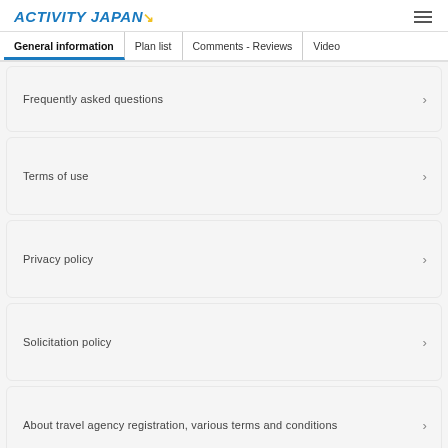ACTIVITY JAPAN
General information | Plan list | Comments - Reviews | Video
Frequently asked questions
Terms of use
Privacy policy
Solicitation policy
About travel agency registration, various terms and conditions
Contact